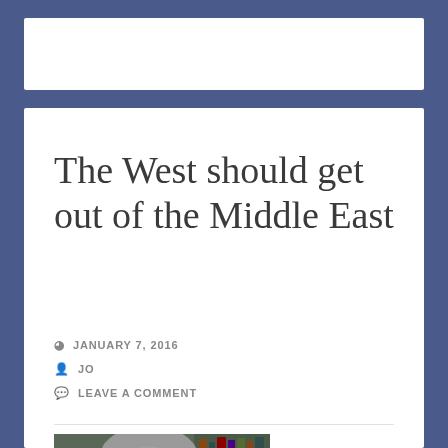The West should get out of the Middle East
JANUARY 7, 2016
JO
LEAVE A COMMENT
[Figure (photo): Portrait photo of a middle-aged man with grey hair, wearing a collared shirt, with a blurred bookcase background]